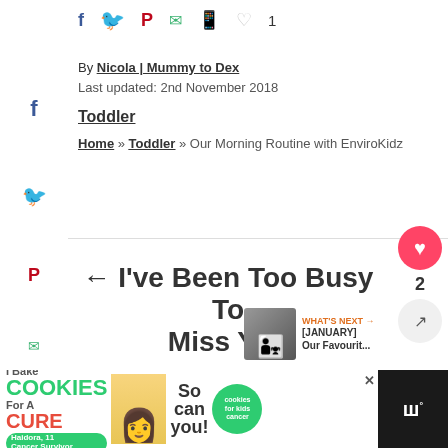Social share icons: facebook, twitter, pinterest, mail, whatsapp, heart 1
By Nicola | Mummy to Dex
Last updated: 2nd November 2018
Toddler
Home » Toddler » Our Morning Routine with EnviroKidz
← I've Been Too Busy To Miss You
0 SHARES
WHAT'S NEXT → [JANUARY] Our Favourit...
[Figure (screenshot): Advertisement banner: I Bake COOKIES For A CURE with Haidora, 11 Cancer Survivor, So can you! cookies for kids cancer logo, close button]